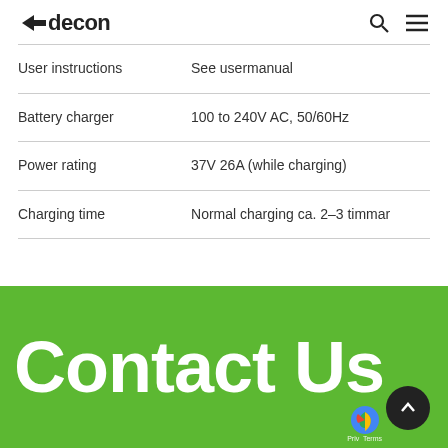adecon
| User instructions | See usermanual |
| Battery charger | 100 to 240V AC, 50/60Hz |
| Power rating | 37V 26A (while charging) |
| Charging time | Normal charging ca. 2–3 timmar |
Contact Us